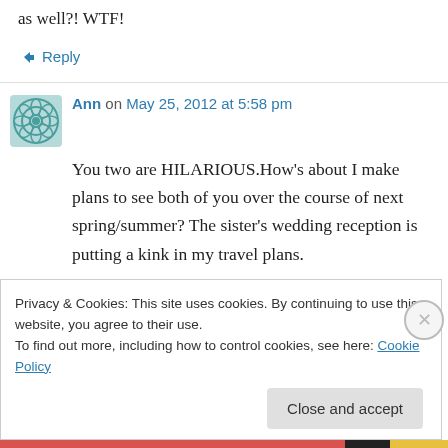as well?! WTF!
↳ Reply
Ann on May 25, 2012 at 5:58 pm
You two are HILARIOUS.How's about I make plans to see both of you over the course of next spring/summer? The sister's wedding reception is putting a kink in my travel plans.
↳ Reply
Privacy & Cookies: This site uses cookies. By continuing to use this website, you agree to their use.
To find out more, including how to control cookies, see here: Cookie Policy
Close and accept